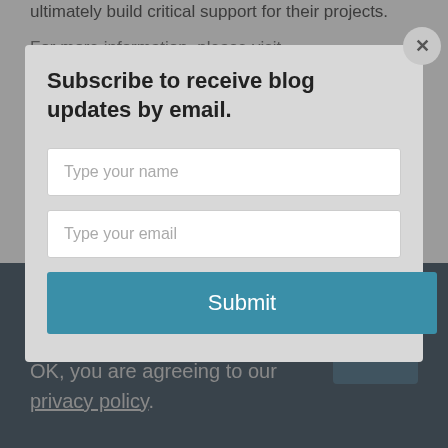ultimately build critical support for their projects.
For more information, please visit
www.decarbonize.com
###
Media Contact
Rachel Antman
Savgency
212-362-5837
Subscribe to receive blog updates by email.
Type your name
Type your email
Submit
This website uses cookies and third party services. By clicking OK, you are agreeing to our privacy policy.
OK